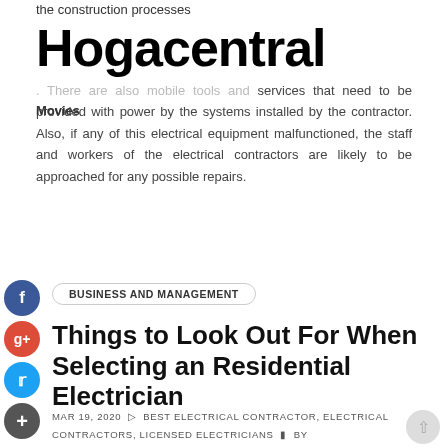the construction processes
Hogacentral
Movies
There are also mobile tools and services that need to be provided with power by the systems installed by the contractor. Also, if any of this electrical equipment malfunctioned, the staff and workers of the electrical contractors are likely to be approached for any possible repairs.
BUSINESS AND MANAGEMENT
Things to Look Out For When Selecting an Residential Electrician
MAR 19, 2020  BEST ELECTRICAL CONTRACTOR, ELECTRICAL CONTRACTORS, LICENSED ELECTRICIANS  BY SIMON CHANDLER